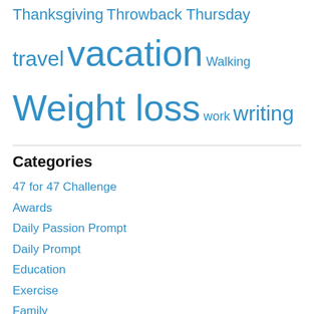Thanksgiving Throwback Thursday travel vacation Walking Weight loss work writing
Categories
47 for 47 Challenge
Awards
Daily Passion Prompt
Daily Prompt
Education
Exercise
Family
Fashion
Food
Health
NaBloPoMo
NaNoWriMo
Other Thoughts